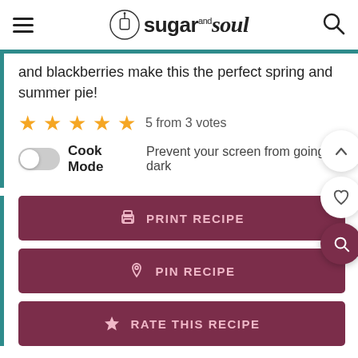Sugar and Soul
and blackberries make this the perfect spring and summer pie!
5 from 3 votes
Cook Mode Prevent your screen from going dark
PRINT RECIPE
PIN RECIPE
RATE THIS RECIPE